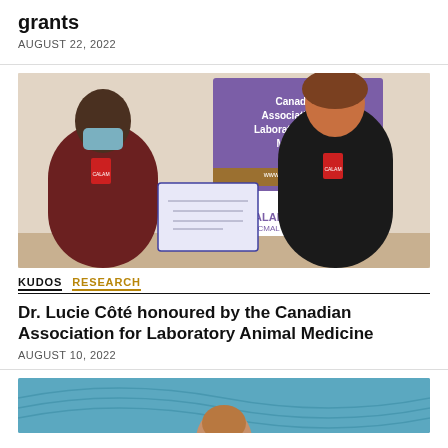grants
AUGUST 22, 2022
[Figure (photo): Two people standing in front of a CALAM/ACMAL Canadian Association for Laboratory Animal Medicine banner, one wearing a mask and holding a certificate]
KUDOS   RESEARCH
Dr. Lucie Côté honoured by the Canadian Association for Laboratory Animal Medicine
AUGUST 10, 2022
[Figure (photo): Partial photo of a person, bottom portion cut off, with teal/blue background]